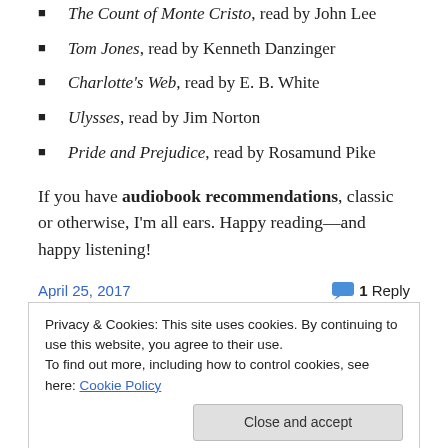The Count of Monte Cristo, read by John Lee
Tom Jones, read by Kenneth Danzinger
Charlotte's Web, read by E. B. White
Ulysses, read by Jim Norton
Pride and Prejudice, read by Rosamund Pike
If you have audiobook recommendations, classic or otherwise, I'm all ears. Happy reading—and happy listening!
April 25, 2017
1 Reply
Privacy & Cookies: This site uses cookies. By continuing to use this website, you agree to their use.
To find out more, including how to control cookies, see here: Cookie Policy
Close and accept
“Git wot, I reckon,” Erony said, “I aint never stopped no